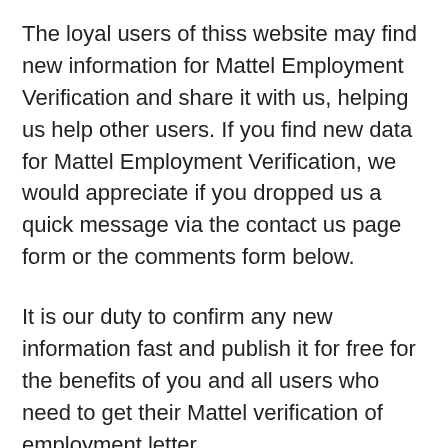The loyal users of thiss website may find new information for Mattel Employment Verification and share it with us, helping us help other users. If you find new data for Mattel Employment Verification, we would appreciate if you dropped us a quick message via the contact us page form or the comments form below.
It is our duty to confirm any new information fast and publish it for free for the benefits of you and all users who need to get their Mattel verification of employment letter.